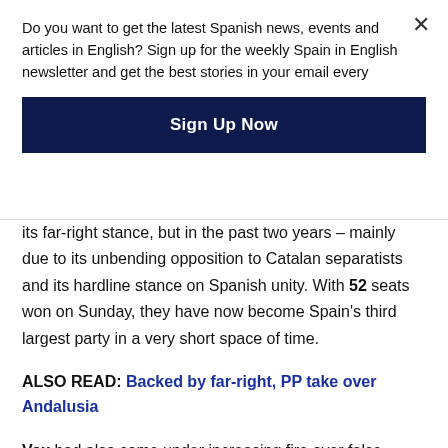Do you want to get the latest Spanish news, events and articles in English? Sign up for the weekly Spain in English newsletter and get the best stories in your email every
Sign Up Now
its far-right stance, but in the past two years – mainly due to its unbending opposition to Catalan separatists and its hardline stance on Spanish unity. With 52 seats won on Sunday, they have now become Spain's third largest party in a very short space of time.
ALSO READ: Backed by far-right, PP take over Andalusia
Vox had also come under increasing fire over false claims in its recent campaign, with more than 2,500 academics and